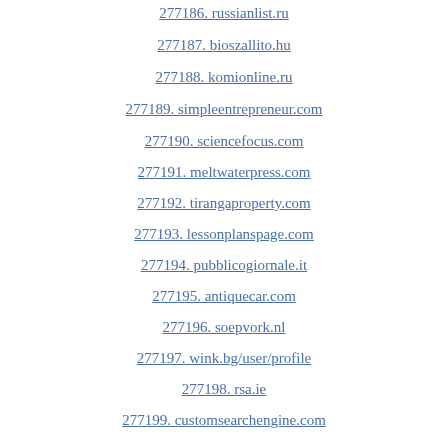277186. russianlist.ru
277187. bioszallito.hu
277188. komionline.ru
277189. simpleentrepreneur.com
277190. sciencefocus.com
277191. meltwaterpress.com
277192. tirangaproperty.com
277193. lessonplanspage.com
277194. pubblicogiornale.it
277195. antiquecar.com
277196. soepvork.nl
277197. wink.bg/user/profile
277198. rsa.ie
277199. customsearchengine.com